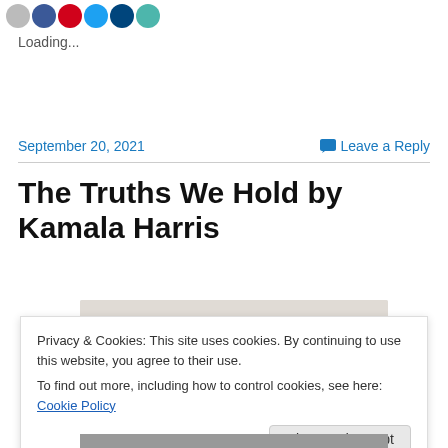[Figure (illustration): Row of social sharing icon circles: grey, blue (Facebook), red, light blue (Twitter), dark blue, teal]
Loading...
September 20, 2021
💬 Leave a Reply
The Truths We Hold by Kamala Harris
[Figure (photo): Partial view of a book cover image, light beige/grey background visible]
Privacy & Cookies: This site uses cookies. By continuing to use this website, you agree to their use.
To find out more, including how to control cookies, see here: Cookie Policy
Close and accept
[Figure (photo): Bottom portion of a photograph, partially cropped]